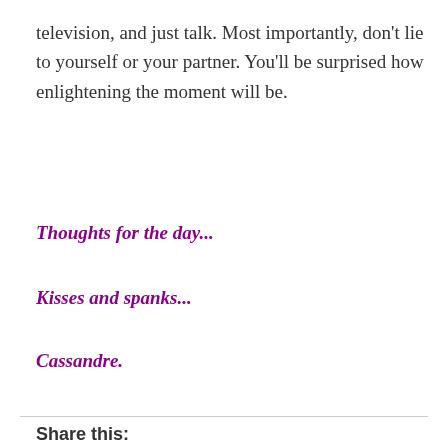television, and just talk. Most importantly, don't lie to yourself or your partner. You'll be surprised how enlightening the moment will be.
Thoughts for the day...
Kisses and spanks...
Cassandre.
Share this:
Facebook  LinkedIn  Twitter  Tumblr  More
Loading...